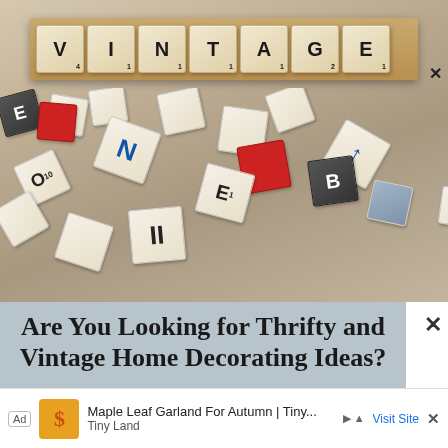[Figure (photo): Photograph of scattered Scrabble tiles with the word VINTAGE spelled out on a wooden rack at the top. Various loose tiles with letters are piled beneath it, including red tiles, dark tiles, and tiles with letters E, O, B, and others.]
Are You Looking for Thrifty and Vintage Home Decorating Ideas?
Ad   Maple Leaf Garland For Autumn | Tiny...   Tiny Land   Visit Site